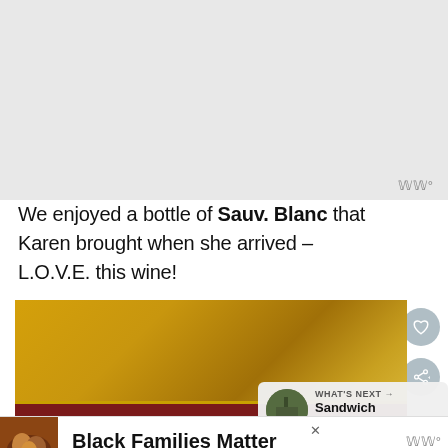[Figure (photo): Grey/white rectangle at top of page representing a cropped or loading image area]
We enjoyed a bottle of Sauv. Blanc that Karen brought when she arrived – L.O.V.E. this wine!
[Figure (photo): Close-up photo of a wine glass showing golden/amber liquid with a dark red band near the bottom]
WHAT'S NEXT → Sandwich Testing
Black Families Matter